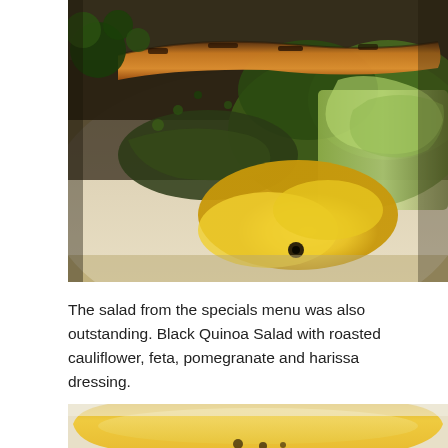[Figure (photo): Close-up photo of a plated salad dish on a white plate. The dish features grilled chicken or fish on top of green leafy vegetables, with a yellow sauce or dressing pooling on the plate, along with what appears to be zucchini and capers. The image has warm, slightly golden tones.]
The salad from the specials menu was also outstanding. Black Quinoa Salad with roasted cauliflower, feta, pomegranate and harissa dressing.
[Figure (photo): Partial view of another plated dish, showing the edge of a bowl or plate with a golden-yellow sauce or soup, partially cropped at the bottom of the page.]